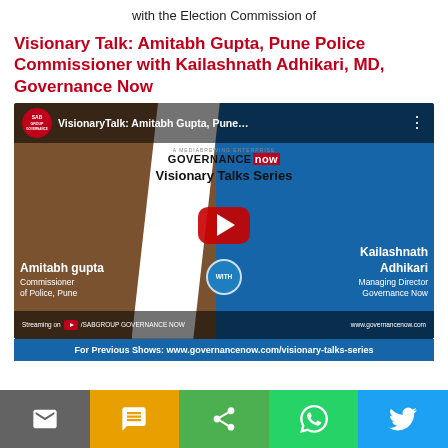with the Election Commission of
Visionary Talk: Amitabh Gupta, Pune Police Commissioner with Kailashnath Adhikari, MD, Governance Now
[Figure (screenshot): YouTube video thumbnail for Visionary Talk featuring Amitabh Gupta, Commissioner of Police Pune and Kailashnath Adhikari, Managing Director of Governance Now. Shows SAB Group Governance Now logo, Visionary Talks Series title, YouTube play button, and streaming info at bottom.]
For Previous Shows: www.governancenow.com/visionary-talks-series
[Figure (infographic): Social media share bar with Email, SMS, Share, WhatsApp, and Twitter buttons]